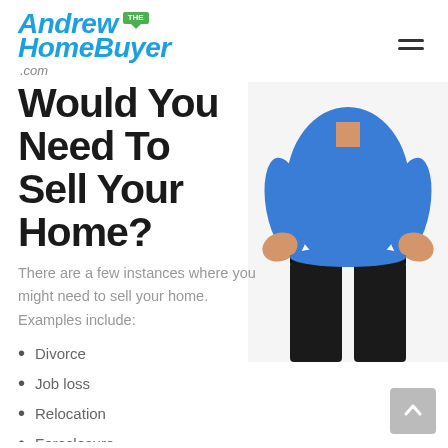Andrew The HomeBuyer .com
Would You Need To Sell Your Home?
[Figure (photo): Man in blue polo shirt and black pants standing with hands on hips, torso and legs visible, white background]
There are a few instances where you might need to sell your home. Examples include:
Divorce
Job loss
Relocation
Foreclosure